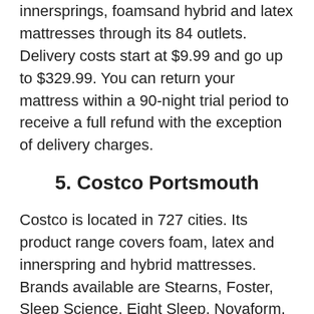innersprings, foamsand hybrid and latex mattresses through its 84 outlets. Delivery costs start at $9.99 and go up to $329.99. You can return your mattress within a 90-night trial period to receive a full refund with the exception of delivery charges.
5. Costco Portsmouth
Costco is located in 727 cities. Its product range covers foam, latex and innerspring and hybrid mattresses. Brands available are Stearns, Foster, Sleep Science, Eight Sleep, Novaform, Sealy and Simmons. The cost includes shipping costs. You can return the mattress for a refund in full.
6. Denver Mattress Portsmouth
Denver Mattress has 90 locations from where you can buy Sealy, Serta, Tempur-Pedic, Stearns and Foster and